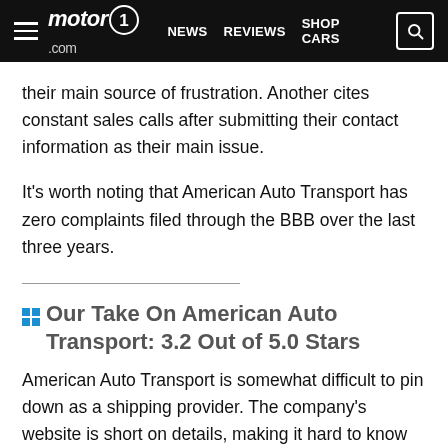motor1.com | NEWS | REVIEWS | SHOP CARS
their main source of frustration. Another cites constant sales calls after submitting their contact information as their main issue.
It's worth noting that American Auto Transport has zero complaints filed through the BBB over the last three years.
Our Take On American Auto Transport: 3.2 Out of 5.0 Stars
American Auto Transport is somewhat difficult to pin down as a shipping provider. The company’s website is short on details, making it hard to know exactly what it offers. The car transport company’s lack of response